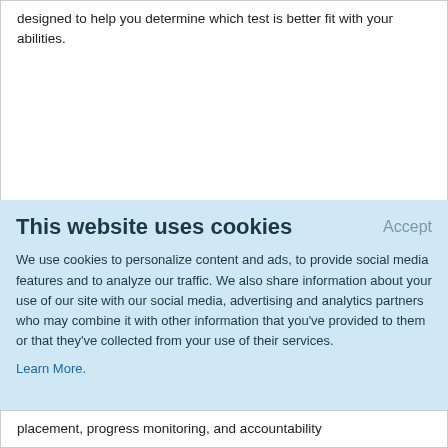designed to help you determine which test is better fit with your abilities.
This website uses cookies
Accept
We use cookies to personalize content and ads, to provide social media features and to analyze our traffic. We also share information about your use of our site with our social media, advertising and analytics partners who may combine it with other information that you've provided to them or that they've collected from your use of their services.
Learn More.
placement, progress monitoring, and accountability